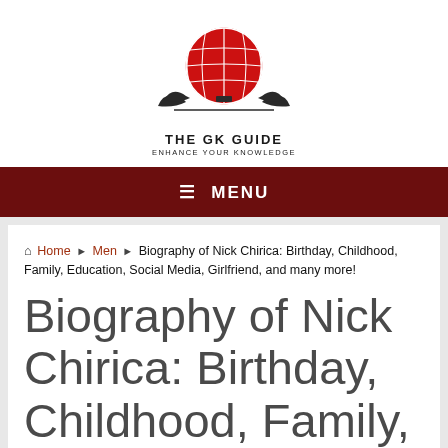[Figure (logo): The GK Guide logo — red globe with grid lines on top, open book wings below, text: THE GK GUIDE / ENHANCE YOUR KNOWLEDGE]
≡ MENU
🏠 Home ▶ Men ▶ Biography of Nick Chirica: Birthday, Childhood, Family, Education, Social Media, Girlfriend, and many more!
Biography of Nick Chirica: Birthday, Childhood, Family, Education, Social Media, Girlfriend, and many more!